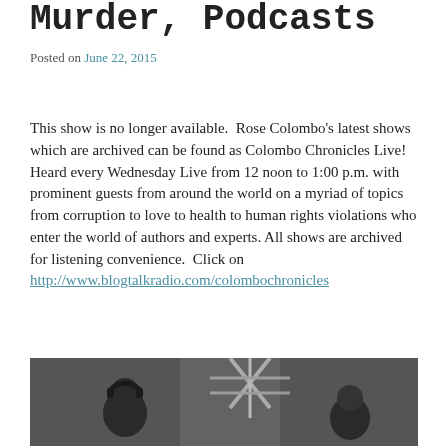Murder, Podcasts
Posted on June 22, 2015
This show is no longer available.  Rose Colombo's latest shows which are archived can be found as Colombo Chronicles Live!  Heard every Wednesday Live from 12 noon to 1:00 p.m. with prominent guests from around the world on a myriad of topics from corruption to love to health to human rights violations who enter the world of authors and experts. All shows are archived for listening convenience.  Click on http://www.blogtalkradio.com/colombochronicles
[Figure (photo): Black and white photo of two people in a radio studio, one wearing headphones, with a microphone boom arm visible in the foreground]